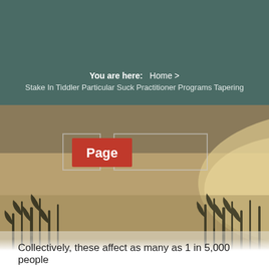You are here:   Home > Stake In Tiddler Particular Suck Practitioner Programs Tapering
[Figure (photo): Photograph of silhouetted reeds and grass against a shimmering water background at sunset or sunrise, with a page navigation overlay showing a 'Page' button in red/orange and a navigation box]
Collectively, these affect as many as 1 in 5,000 people